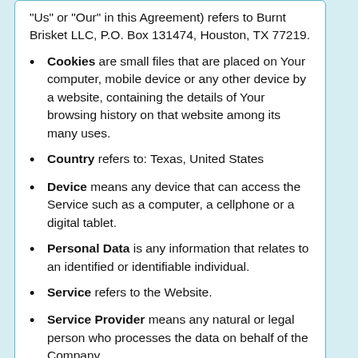“Us” or “Our” in this Agreement) refers to Burnt Brisket LLC, P.O. Box 131474, Houston, TX 77219.
Cookies are small files that are placed on Your computer, mobile device or any other device by a website, containing the details of Your browsing history on that website among its many uses.
Country refers to: Texas, United States
Device means any device that can access the Service such as a computer, a cellphone or a digital tablet.
Personal Data is any information that relates to an identified or identifiable individual.
Service refers to the Website.
Service Provider means any natural or legal person who processes the data on behalf of the Company.